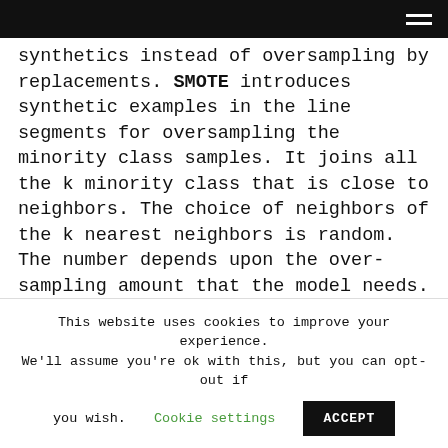[navigation bar with hamburger menu]
synthetics instead of oversampling by replacements. SMOTE introduces synthetic examples in the line segments for oversampling the minority class samples. It joins all the k minority class that is close to neighbors. The choice of neighbors of the k nearest neighbors is random. The number depends upon the over-sampling amount that the model needs.
The primary function of SMOTE is to construct
This website uses cookies to improve your experience. We'll assume you're ok with this, but you can opt-out if you wish. Cookie settings ACCEPT